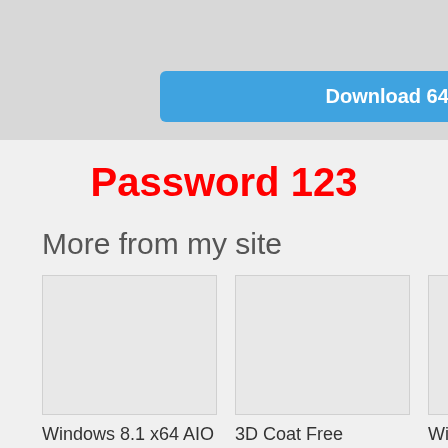[Figure (screenshot): Gray area at top with a blue download button labeled 'Download 64 Bit x64 v2019.3.3']
Password 123
More from my site
[Figure (photo): Placeholder image for Windows 8.1 x64 AIO All in One ISO Nov 2016 Free Download]
Windows 8.1 x64 AIO All in One ISO Nov 2016 Free Download
[Figure (photo): Placeholder image for 3D Coat Free Download]
3D Coat Free Download
[Figure (photo): Placeholder image for WinTools net Professional Free Download]
WinTools net Professional Free Download